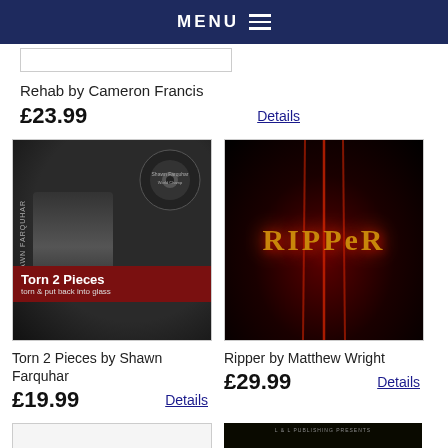MENU
Rehab by Cameron Francis
£23.99   Details
[Figure (photo): DVD cover for Torn 2 Pieces by Shawn Farquhar, dark background with disc visible]
Torn 2 Pieces by Shawn Farquhar
£19.99   Details
[Figure (photo): Ripper by Matthew Wright product image with dark red glowing background and gold Ripper logo text]
Ripper by Matthew Wright
£29.99   Details
[Figure (photo): Partially visible product image at bottom left]
[Figure (photo): L & L Publishing Presents Michael Handy DVD cover partially visible at bottom right]